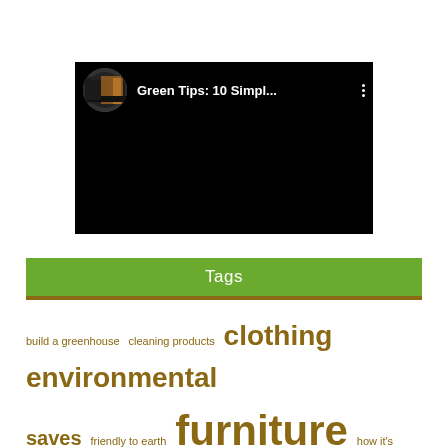[Figure (screenshot): YouTube-style video card with black background. Circular thumbnail showing people in a store with orange/warm lighting. Title text reads 'Green Tips: 10 Simpl...' in white. Three vertical dots menu icon on the right.]
Tags
build a greenhouse  cleaning products  clothing  environmental saves  friendly to earth  furniture  how it's done  make a green home  tips to save on energy  vehicles